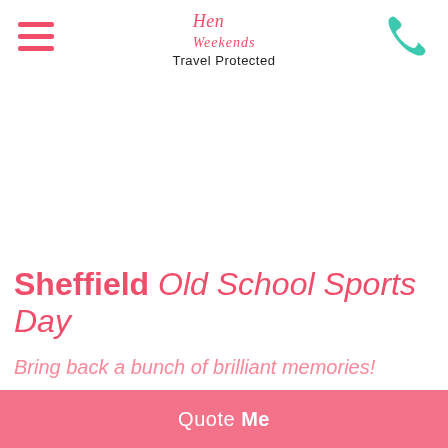[Figure (logo): Hen Weekends script logo with 'Travel Protected' subtitle and hamburger menu icon on left, phone icon on right]
Sheffield Old School Sports Day
Bring back a bunch of brilliant memories!
Quote Me